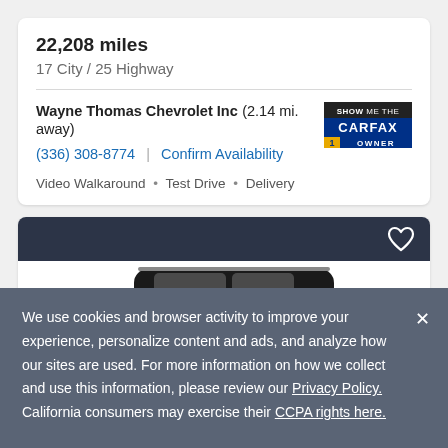22,208 miles
17 City / 25 Highway
Wayne Thomas Chevrolet Inc  (2.14 mi. away)
(336) 308-8774  |  Confirm Availability
[Figure (logo): CARFAX Show Me The 1 Owner badge]
Video Walkaround  •  Test Drive  •  Delivery
[Figure (photo): Car listing card with dark header bar containing heart/favorite icon and a partial view of a white SUV vehicle]
We use cookies and browser activity to improve your experience, personalize content and ads, and analyze how our sites are used. For more information on how we collect and use this information, please review our Privacy Policy. California consumers may exercise their CCPA rights here.